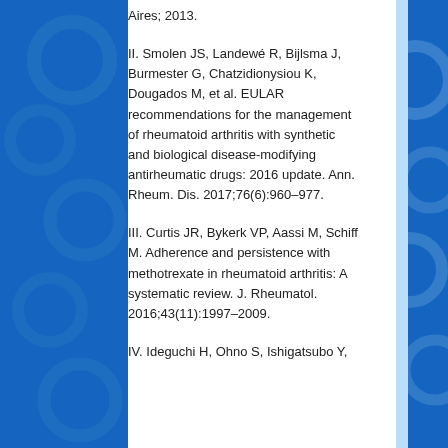Aires; 2013.
II. Smolen JS, Landewé R, Bijlsma J, Burmester G, Chatzidionysiou K, Dougados M, et al. EULAR recommendations for the management of rheumatoid arthritis with synthetic and biological disease-modifying antirheumatic drugs: 2016 update. Ann. Rheum. Dis. 2017;76(6):960–977.
III. Curtis JR, Bykerk VP, Aassi M, Schiff M. Adherence and persistence with methotrexate in rheumatoid arthritis: A systematic review. J. Rheumatol. 2016;43(11):1997–2009.
IV. Ideguchi H, Ohno S, Ishigatsubo Y,